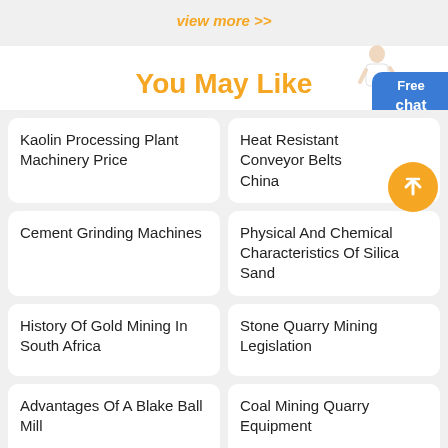view more >>
You May Like
Kaolin Processing Plant Machinery Price
Heat Resistant Conveyor Belts China
Cement Grinding Machines
Physical And Chemical Characteristics Of Silica Sand
History Of Gold Mining In South Africa
Stone Quarry Mining Legislation
Advantages Of A Blake Ball Mill
Coal Mining Quarry Equipment